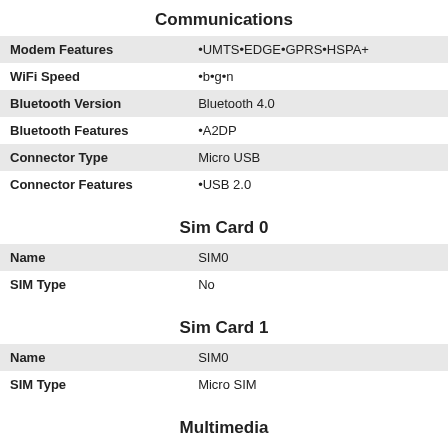Communications
| Modem Features | •UMTS•EDGE•GPRS•HSPA+ |
| WiFi Speed | •b•g•n |
| Bluetooth Version | Bluetooth 4.0 |
| Bluetooth Features | •A2DP |
| Connector Type | Micro USB |
| Connector Features | •USB 2.0 |
Sim Card 0
| Name | SIM0 |
| SIM Type | No |
Sim Card 1
| Name | SIM0 |
| SIM Type | Micro SIM |
Multimedia